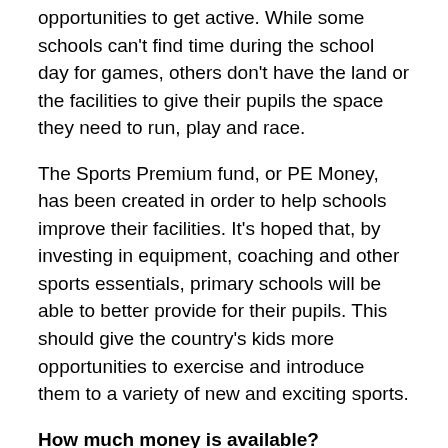opportunities to get active. While some schools can't find time during the school day for games, others don't have the land or the facilities to give their pupils the space they need to run, play and race.
The Sports Premium fund, or PE Money, has been created in order to help schools improve their facilities. It's hoped that, by investing in equipment, coaching and other sports essentials, primary schools will be able to better provide for their pupils. This should give the country's kids more opportunities to exercise and introduce them to a variety of new and exciting sports.
How much money is available?
The Sports Premium is a fund of £320 million that's been created by the Government to help schools improve their sports provision. Although there are a few exceptions, almost all primary schools in the UK are entitled to money